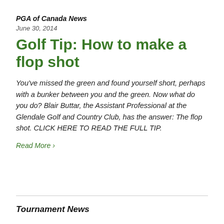PGA of Canada News
June 30, 2014
Golf Tip: How to make a flop shot
You've missed the green and found yourself short, perhaps with a bunker between you and the green. Now what do you do? Blair Buttar, the Assistant Professional at the Glendale Golf and Country Club, has the answer: The flop shot. CLICK HERE TO READ THE FULL TIP.
Read More ›
Tournament News